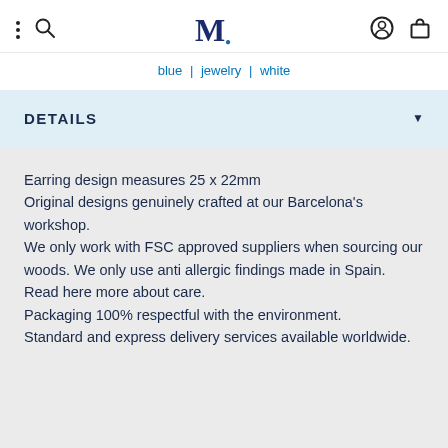M. (logo with navigation icons)
blue | jewelry | white
DETAILS
Earring design measures 25 x 22mm
Original designs genuinely crafted at our Barcelona's workshop.
We only work with FSC approved suppliers when sourcing our woods. We only use anti allergic findings made in Spain. Read here more about care.
Packaging 100% respectful with the environment.
Standard and express delivery services available worldwide.